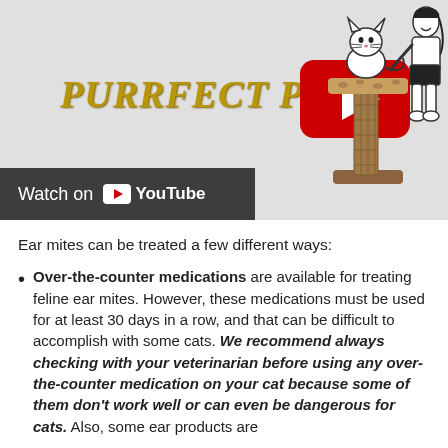[Figure (screenshot): YouTube video thumbnail for 'Purrfect Post' channel showing a cat on a scratching post and a person standing beside it, with a YouTube play button overlay and 'Watch on YouTube' bar at the bottom.]
Ear mites can be treated a few different ways:
Over-the-counter medications are available for treating feline ear mites. However, these medications must be used for at least 30 days in a row, and that can be difficult to accomplish with some cats. We recommend always checking with your veterinarian before using any over-the-counter medication on your cat because some of them don't work well or can even be dangerous for cats. Also, some ear products are